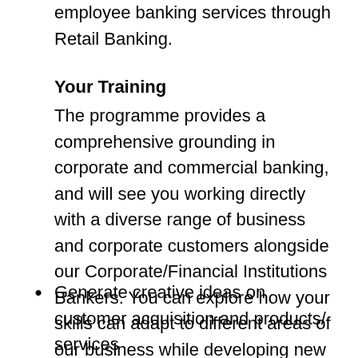employee banking services through Retail Banking.
Your Training
The programme provides a comprehensive grounding in corporate and commercial banking, and will see you working directly with a diverse range of business and corporate customers alongside our Corporate/Financial Institutions Bankers. You can explore how your skills can adapt to different areas of our business while developing new skills to help kick-start your career in the Global Banking. Here are some projects you could be involved in:
Generate creative ideas on customer acquisition and products/ services